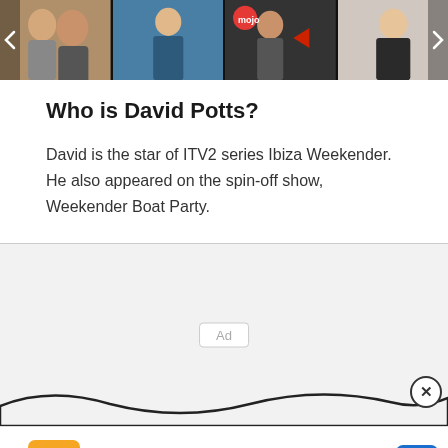[Figure (photo): Horizontal image strip showing four celebrity/person photos with left and right navigation arrows]
Who is David Potts?
David is the star of ITV2 series Ibiza Weekender. He also appeared on the spin-off show, Weekender Boat Party.
[Figure (other): Advertisement placeholder box with 'Ad' label, wave decoration at the bottom, and close (X) button]
[Figure (other): SnackTime Smiles from Wegmans advertisement banner with orange logo, blue navigation arrow button]